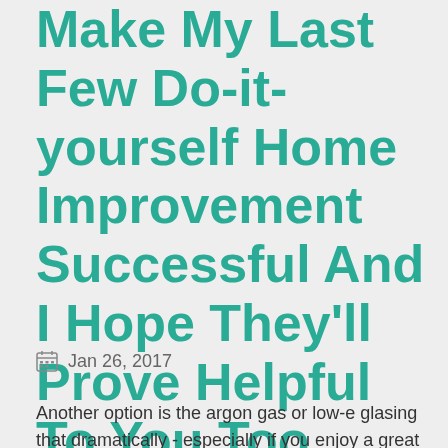These Tips Have Helped Make My Last Few Do-it-yourself Home Improvement Successful And I Hope They'll Prove Helpful To You Too.
Jan 26, 2017
Another option is the argon gas or low-e glasing that dramatically - especially if you enjoy a great spot for